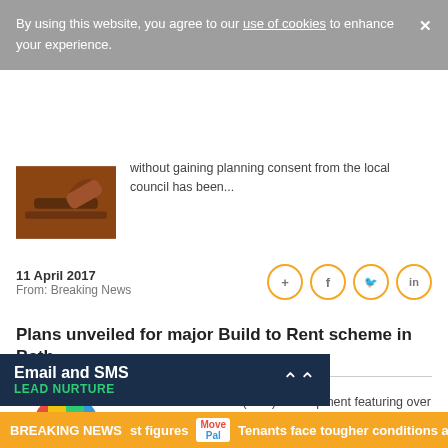By using this website, you agree to our use of cookies to enhance your experience.
without gaining planning consent from the local council has been...
11 April 2017
From: Breaking News
Plans unveiled for major Build to Rent scheme in Bath
A new Build to Rent (BTR) development featuring over 170 homes will be built in Bath city centre by Legal &...
22 March 2017
Email and SMS LEAD NURTURE
BREAKING NEWS   st figures   Tenants face tougher conditions a